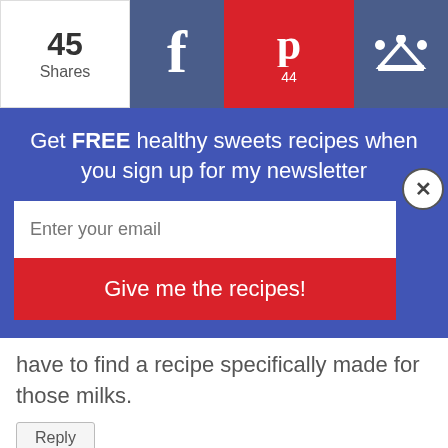45 Shares | Facebook share | Pinterest 44 | King share
Get FREE healthy sweets recipes when you sign up for my newsletter
Enter your email
Give me the recipes!
have to find a recipe specifically made for those milks.
Reply
Jill says:
August 11, 2017 at 6:30 am
I tried making it for the first time and used almond milk... It did not work using this recipe. (I knew it was a